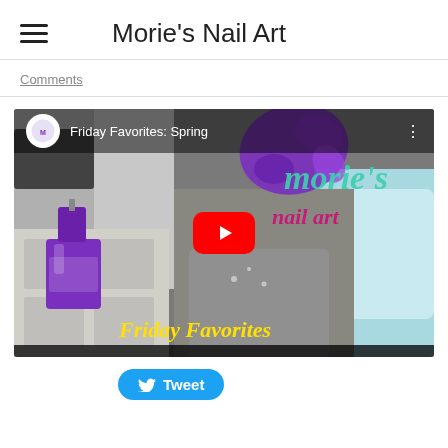Morie's Nail Art
Comments
[Figure (screenshot): YouTube video embed showing 'Friday Favorites: Spring' video from Morie's Nail Art channel, with a purple nail polish bottle illustration, Morie's Nail Art logo text, and 'Friday Favorites' text overlay. Red YouTube play button in the center.]
Tweet